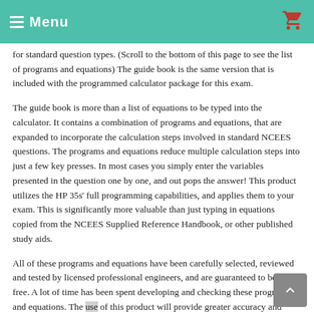Menu
for standard question types. (Scroll to the bottom of this page to see the list of programs and equations) The guide book is the same version that is included with the programmed calculator package for this exam.
The guide book is more than a list of equations to be typed into the calculator. It contains a combination of programs and equations, that are expanded to incorporate the calculation steps involved in standard NCEES questions. The programs and equations reduce multiple calculation steps into just a few key presses. In most cases you simply enter the variables presented in the question one by one, and out pops the answer! This product utilizes the HP 35s' full programming capabilities, and applies them to your exam. This is significantly more valuable than just typing in equations copied from the NCEES Supplied Reference Handbook, or other published study aids.
All of these programs and equations have been carefully selected, reviewed and tested by licensed professional engineers, and are guaranteed to be error-free. A lot of time has been spent developing and checking these programs and equations. The use of this product will provide greater accuracy and speed in tackling the numerical questions on the exam, and allow more time to be